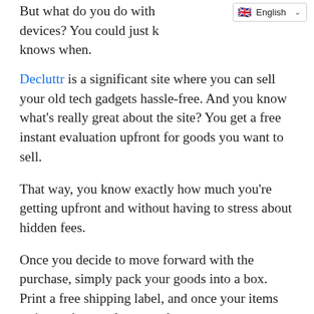But what do you do with devices? You could just k… knows when.
Decluttr is a significant site where you can sell your old tech gadgets hassle-free. And you know what's really great about the site? You get a free instant evaluation upfront for goods you want to sell.
That way, you know exactly how much you're getting upfront and without having to stress about hidden fees.
Once you decide to move forward with the purchase, simply pack your goods into a box. Print a free shipping label, and once your items arrive at the warehouse and get